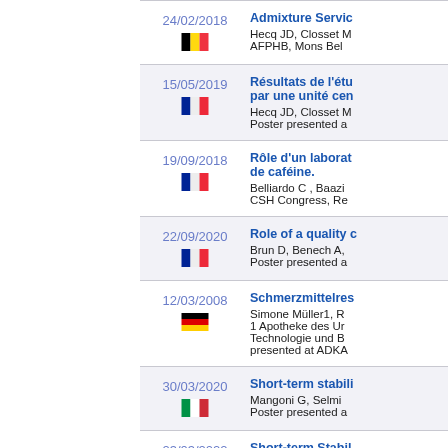24/02/2018 | Belgium | Admixture Servic... | Hecq JD, Closset M... | AFPHB, Mons Bel...
15/05/2019 | France | Résultats de l'étu... par une unité cen... | Hecq JD, Closset M... | Poster presented a...
19/09/2018 | France | Rôle d'un laborat... de caféine. | Belliardo C , Baazi... | CSH Congress, Re...
22/09/2020 | France | Role of a quality c... | Brun D, Benech A,... | Poster presented a...
12/03/2008 | Germany | Schmerzmittelres... | Simone Müller1, R... | 1 Apotheke des Ur... Technologie und B... presented at ADKA...
30/03/2020 | Italy | Short-term stabili... | Mangoni G, Selmi... | Poster presented a...
23/03/2022 | Italy | Short-term Stabil... | Mangoni G, Selmi... | Poster presented a...
Similarity asses...